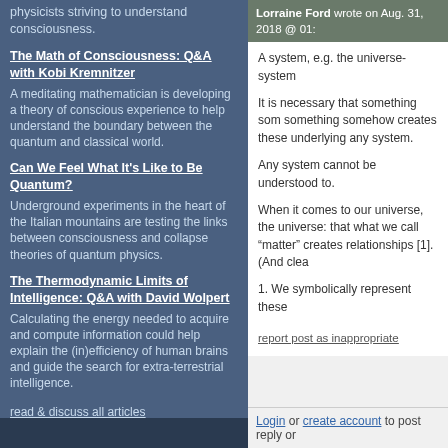physicists striving to understand consciousness.
The Math of Consciousness: Q&A with Kobi Kremnitzer — A meditating mathematician is developing a theory of conscious experience to help understand the boundary between the quantum and classical world.
Can We Feel What It's Like to Be Quantum? — Underground experiments in the heart of the Italian mountains are testing the links between consciousness and collapse theories of quantum physics.
The Thermodynamic Limits of Intelligence: Q&A with David Wolpert — Calculating the energy needed to acquire and compute information could help explain the (in)efficiency of human brains and guide the search for extra-terrestrial intelligence.
read & discuss all articles
Lorraine Ford wrote on Aug. 31, 2018 @ 01:
A system, e.g. the universe-system
It is necessary that something som something somehow creates these underlying any system.
Any system cannot be understood to.
When it comes to our universe, the universe: that what we call "matter" creates relationships [1]. (And clea
1. We symbolically represent these
report post as inappropriate
Login or create account to post reply or